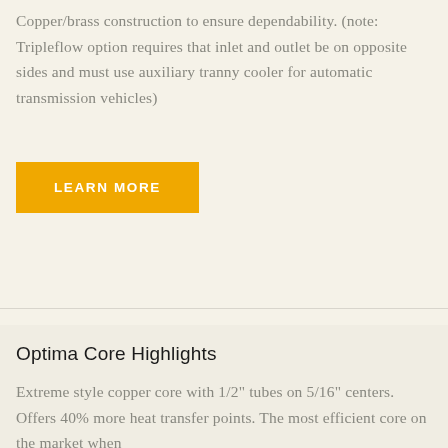Copper/brass construction to ensure dependability. (note: Tripleflow option requires that inlet and outlet be on opposite sides and must use auxiliary tranny cooler for automatic transmission vehicles)
LEARN MORE
Optima Core Highlights
Extreme style copper core with 1/2" tubes on 5/16" centers. Offers 40% more heat transfer points. The most efficient core on the market when